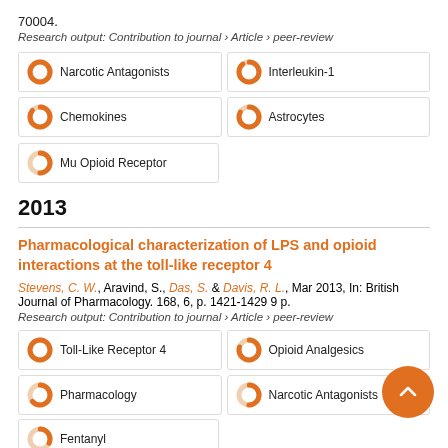70004.
Research output: Contribution to journal › Article › peer-review
[Figure (infographic): Keyword donut badges: Narcotic Antagonists (100%), Interleukin-1 (high%), Chemokines (high%), Astrocytes (high%), Mu Opioid Receptor (50%)]
2013
Pharmacological characterization of LPS and opioid interactions at the toll-like receptor 4
Stevens, C. W., Aravind, S., Das, S. & Davis, R. L., Mar 2013, In: British Journal of Pharmacology. 168, 6, p. 1421-1429 9 p.
Research output: Contribution to journal › Article › peer-review
[Figure (infographic): Keyword donut badges: Toll-Like Receptor 4 (100%), Opioid Analgesics (high%), Pharmacology (65%), Narcotic Antagonists (50%), Fentanyl (partial, cut off)]